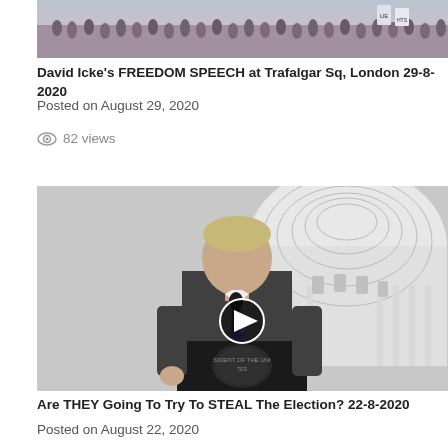[Figure (photo): Aerial view of a large crowd of people at what appears to be an outdoor protest or gathering, with some signs visible]
David Icke's FREEDOM SPEECH at Trafalgar Sq, London 29-8-2020
Posted on August 29, 2020
82 views
[Figure (photo): Black and white photo of a man in a suit speaking at a podium with a presidential seal, with the US Capitol dome visible in the background. A video play button overlay is shown.]
Are THEY Going To Try To STEAL The Election? 22-8-2020
Posted on August 22, 2020